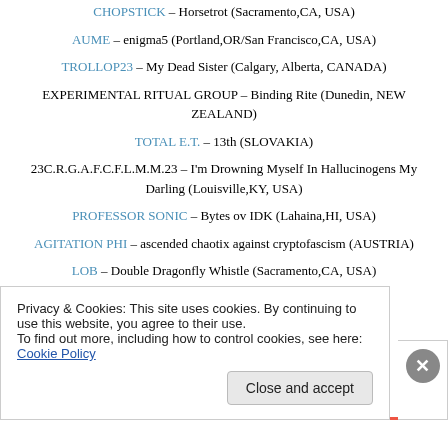CHOPSTICK – Horsetrot (Sacramento,CA, USA)
AUME – enigma5 (Portland,OR/San Francisco,CA, USA)
TROLLOP23 – My Dead Sister (Calgary, Alberta, CANADA)
EXPERIMENTAL RITUAL GROUP – Binding Rite (Dunedin, NEW ZEALAND)
TOTAL E.T. – 13th (SLOVAKIA)
23C.R.G.A.F.C.F.L.M.M.23 – I'm Drowning Myself In Hallucinogens My Darling (Louisville,KY, USA)
PROFESSOR SONIC – Bytes ov IDK (Lahaina,HI, USA)
AGITATION PHI – ascended chaotix against cryptofascism (AUSTRIA)
LOB – Double Dragonfly Whistle (Sacramento,CA, USA)
Privacy & Cookies: This site uses cookies. By continuing to use this website, you agree to their use. To find out more, including how to control cookies, see here: Cookie Policy
Close and accept